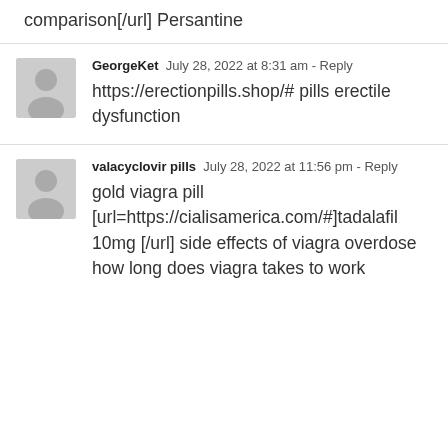comparison[/url] Persantine
GeorgeKet  July 28, 2022 at 8:31 am - Reply
https://erectionpills.shop/# pills erectile dysfunction
valacyclovir pills  July 28, 2022 at 11:56 pm - Reply
gold viagra pill [url=https://cialisamerica.com/#]tadalafil 10mg [/url] side effects of viagra overdose how long does viagra takes to work